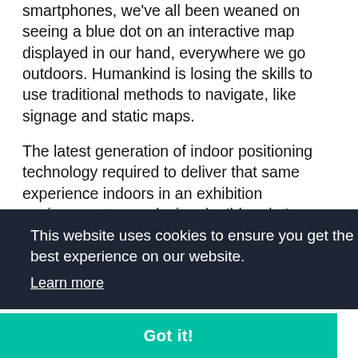smartphones, we've all been weaned on seeing a blue dot on an interactive map displayed in our hand, everywhere we go outdoors. Humankind is losing the skills to use traditional methods to navigate, like signage and static maps.
The latest generation of indoor positioning technology required to deliver that same experience indoors in an exhibition environment – overlaying the 'blue dot' on a digital plan of the show floor – is available, however. It's integrated by the leading mobile app vendors. It's reliable, easy to deploy and low cost. It also unlocks
This website uses cookies to ensure you get the best experience on our website.
Learn more
Got it!
with digital, there's increasing focus from senior